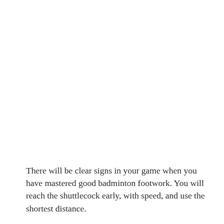There will be clear signs in your game when you have mastered good badminton footwork. You will reach the shuttlecock early, with speed, and use the shortest distance.